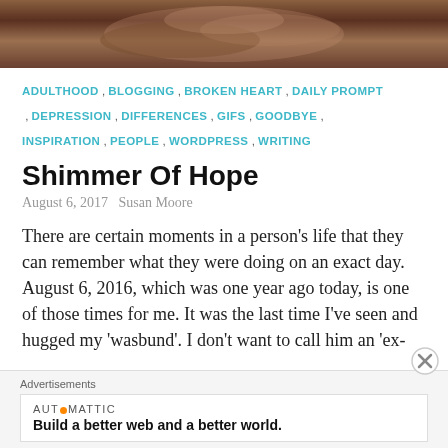[Figure (photo): Close-up photo of hands, warm brown tones, appears to show cupped or clasped hands]
ADULTHOOD , BLOGGING , BROKEN HEART , DAILY PROMPT , DEPRESSION , DIFFERENCES , GIFS , GOODBYE , INSPIRATION , PEOPLE , WORDPRESS , WRITING
Shimmer Of Hope
August 6, 2017  Susan Moore
There are certain moments in a person's life that they can remember what they were doing on an exact day. August 6, 2016, which was one year ago today, is one of those times for me. It was the last time I've seen and hugged my 'wasbund'. I don't want to call him an 'ex-
Advertisements
AUT⊙MATTIC
Build a better web and a better world.